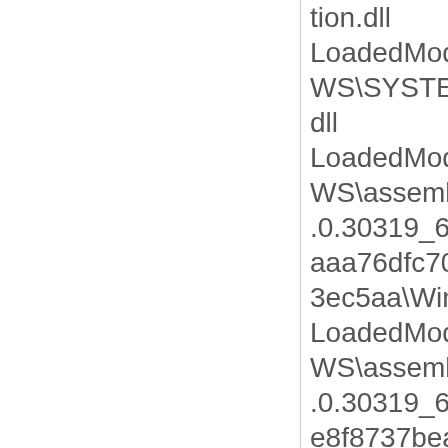tion.dll LoadedModule[75]=C:\WINDOWS\SYSTEM32\globinputhost.dll LoadedModule[76]=C:\WINDOWS\assembly\NativeImages_v4.0.30319_64\Windows.Devices\aaa76dfc70840ddd1028b4e1783ec5aa\Windows.Devices.ni.dll LoadedModule[77]=C:\WINDOWS\assembly\NativeImages_v4.0.30319_64\Windows.System\e8f8737bea4f0df4b88bbc4bf24fa2a8\Windows.System.ni.dll LoadedModule[78]=C:\Program Files\WindowsApps\SureSMS.txtOwl.com_2.0.0.0_x64__gh85hrnvtj64e\Microsoft.Live.DLL LoadedModule[79]=C:\WINDOWS\assembly\NativeImages_v4.0.30319_64\System.ObjectModel\a4f377fe142c539bdce4eb20398557f4\System.ObjectModel.n